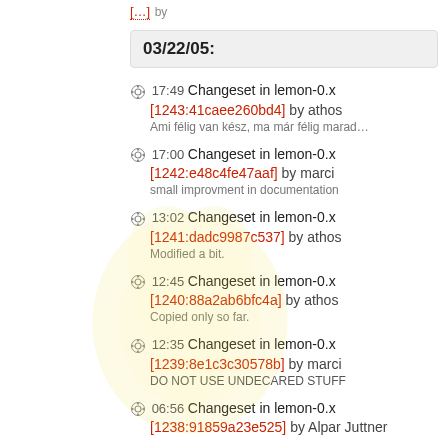[partial link at top]
03/22/05:
17:49 Changeset in lemon-0.x [1243:41caee260bd4] by athos
Ami félig van kész, ma már félig marad…
17:00 Changeset in lemon-0.x [1242:e48c4fe47aaf] by marci
small improvment in documentation
13:02 Changeset in lemon-0.x [1241:dadc9987c537] by athos
Modified a bit.
12:45 Changeset in lemon-0.x [1240:88a2ab6bfc4a] by athos
Copied only so far.
12:35 Changeset in lemon-0.x [1239:8e1c3c30578b] by marci
DO NOT USE UNDECARED STUFF
06:56 Changeset in lemon-0.x [1238:91859a23e525] by Alpar Juttner